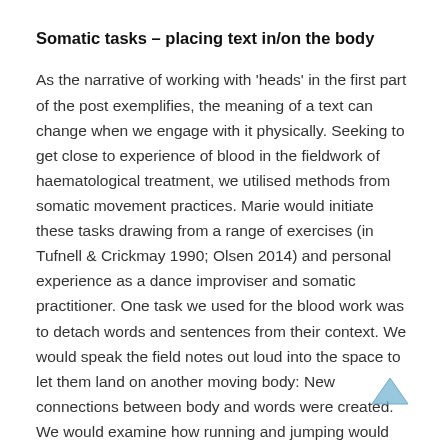Somatic tasks – placing text in/on the body
As the narrative of working with 'heads' in the first part of the post exemplifies, the meaning of a text can change when we engage with it physically. Seeking to get close to experience of blood in the fieldwork of haematological treatment, we utilised methods from somatic movement practices. Marie would initiate these tasks drawing from a range of exercises (in Tufnell & Crickmay 1990; Olsen 2014) and personal experience as a dance improviser and somatic practitioner. One task we used for the blood work was to detach words and sentences from their context. We would speak the field notes out loud into the space to let them land on another moving body: New connections between body and words were created. We would examine how running and jumping would speed up the heart rate and give an internal sense of